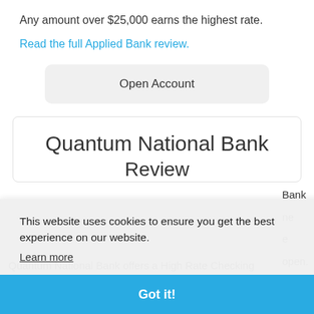Any amount over $25,000 earns the highest rate.
Read the full Applied Bank review.
Open Account
Quantum National Bank Review
This website uses cookies to ensure you get the best experience on our website.
Learn more
Got it!
Quantum National Bank offers a High Rate Checking